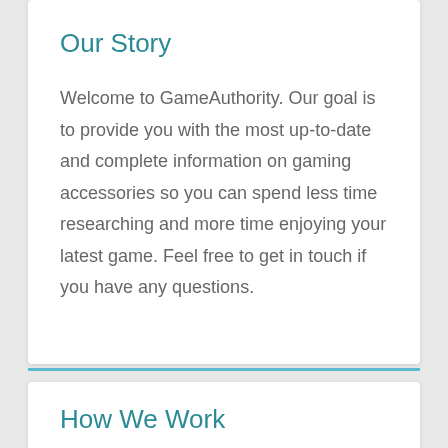Our Story
Welcome to GameAuthority. Our goal is to provide you with the most up-to-date and complete information on gaming accessories so you can spend less time researching and more time enjoying your latest game. Feel free to get in touch if you have any questions.
How We Work